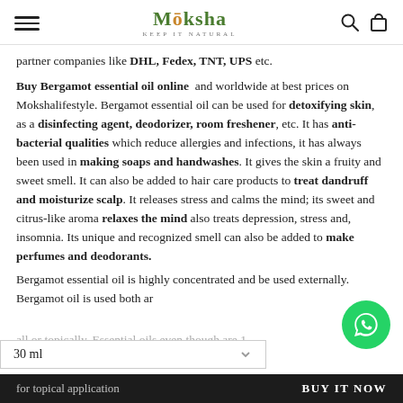Moksha — KEEP IT NATURAL (navigation header)
partner companies like DHL, Fedex, TNT, UPS etc.
Buy Bergamot essential oil online and worldwide at best prices on Mokshalifestyle. Bergamot essential oil can be used for detoxifying skin, as a disinfecting agent, deodorizer, room freshener, etc. It has anti-bacterial qualities which reduce allergies and infections, it has always been used in making soaps and handwashes. It gives the skin a fruity and sweet smell. It can also be added to hair care products to treat dandruff and moisturize scalp. It releases stress and calms the mind; its sweet and citrus-like aroma relaxes the mind also treats depression, stress and, insomnia. Its unique and recognized smell can also be added to make perfumes and deodorants.
Bergamot essential oil is highly concentrated and should be used externally. Bergamot oil is used both aromatically or topically. Essential oils even though are 1... they should always be diluted in pure carrier oils for topical application.
30 ml  |  BUY IT NOW